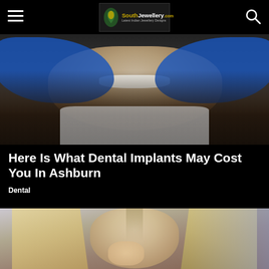SouthJewellery.com – Latest Indian Jewellery Designs
[Figure (photo): Dentist in blue gloves examining a patient's teeth, woman with long dark hair sitting in dental chair smiling]
Here Is What Dental Implants May Cost You In Ashburn
Dental
[Figure (photo): Blonde woman with hair parted down the middle touching her face, appearing distressed, blurred background]